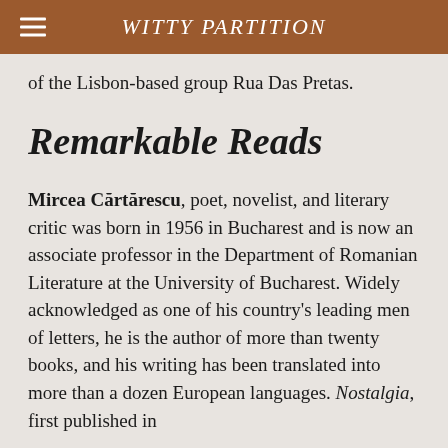WITTY PARTITION
of the Lisbon-based group Rua Das Pretas.
Remarkable Reads
Mircea Cărtărescu, poet, novelist, and literary critic was born in 1956 in Bucharest and is now an associate professor in the Department of Romanian Literature at the University of Bucharest. Widely acknowledged as one of his country's leading men of letters, he is the author of more than twenty books, and his writing has been translated into more than a dozen European languages. Nostalgia, first published in